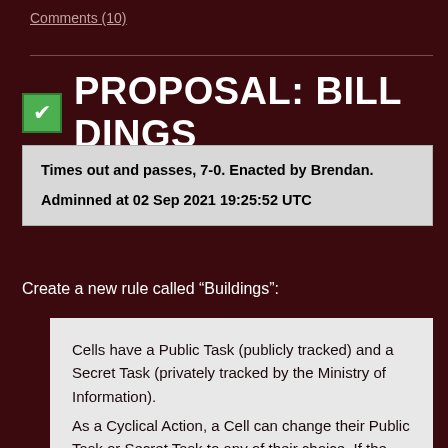Comments (10)
PROPOSAL: BILL DINGS
Times out and passes, 7-0. Enacted by Brendan.
Adminned at 02 Sep 2021 19:25:52 UTC
Create a new rule called “Buildings”:
Cells have a Public Task (publicly tracked) and a Secret Task (privately tracked by the Ministry of Information).
As a Cyclical Action, a Cell can change their Public Task or Secret Task to any of their choice. If the Secret Task is to be changed in